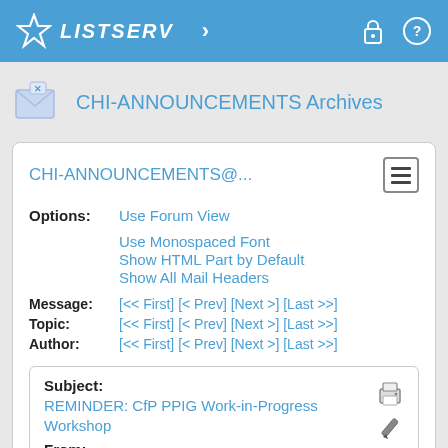LISTSERV
CHI-ANNOUNCEMENTS Archives
CHI-ANNOUNCEMENTS@...
Options: Use Forum View
Use Monospaced Font
Show HTML Part by Default
Show All Mail Headers
Message: [<< First] [< Prev] [Next >] [Last >>]
Topic: [<< First] [< Prev] [Next >] [Last >>]
Author: [<< First] [< Prev] [Next >] [Last >>]
Subject:
REMINDER: CfP PPIG Work-in-Progress Workshop
From: